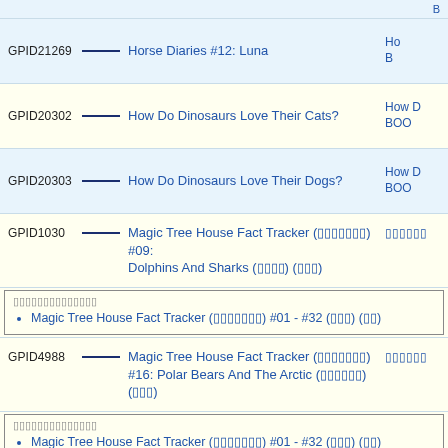| GPID |  | Title | Right Col |
| --- | --- | --- | --- |
| GPID21269 | — | Horse Diaries #12: Luna | Ho
B |
| GPID20302 | — | How Do Dinosaurs Love Their Cats? | How D
BOO |
| GPID20303 | — | How Do Dinosaurs Love Their Dogs? | How D
BOO |
| GPID1030 | — | Magic Tree House Fact Tracker (□□□□□□□) #09: Dolphins And Sharks (□□□□) (□□) | □□□□□□ |
|  |  | □□□□□□□□□□□□□□
• Magic Tree House Fact Tracker (□□□□□□□) #01 - #32 (□□□) (□□) |  |
| GPID4988 | — | Magic Tree House Fact Tracker (□□□□□□□) #16: Polar Bears And The Arctic (□□□□□□) (□□□) | □□□□□□ |
|  |  | □□□□□□□□□□□□□□
• Magic Tree House Fact Tracker (□□□□□□□) #01 - #32 (□□□) (□□) |  |
| GPID10144 | — | Millions Of Cats | □□□(N
BO
ST100
GAG □
101 □□ |